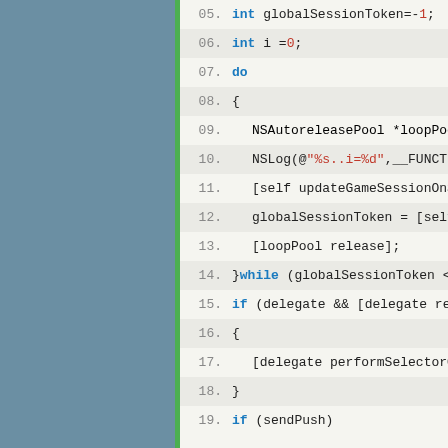[Figure (screenshot): Code editor screenshot showing Objective-C source code lines 05-19 with syntax highlighting. Blue sidebar on left, green vertical bar, and code pane with alternating row backgrounds showing int declarations, do-while loop, NSLog, NSAutoreleasePool, delegate calls, and if statements.]